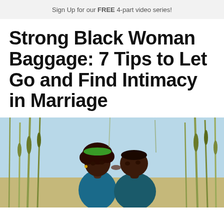Sign Up for our FREE 4-part video series!
Strong Black Woman Baggage: 7 Tips to Let Go and Find Intimacy in Marriage
[Figure (photo): A Black couple kissing outdoors in a natural setting with tall grass/reeds and a light blue sky in the background. The woman has natural hair with a bright green headband, and the man has a close-cropped hairstyle.]